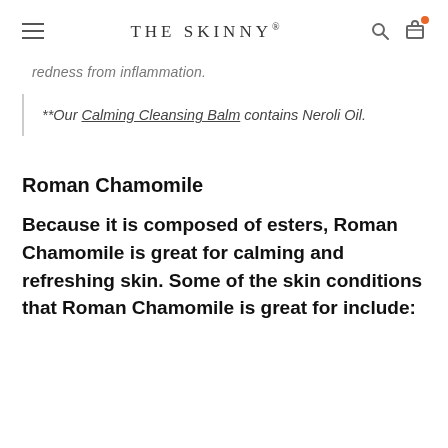THE SKINNY®
redness from inflammation.
**Our Calming Cleansing Balm contains Neroli Oil.
Roman Chamomile
Because it is composed of esters, Roman Chamomile is great for calming and refreshing skin. Some of the skin conditions that Roman Chamomile is great for include: